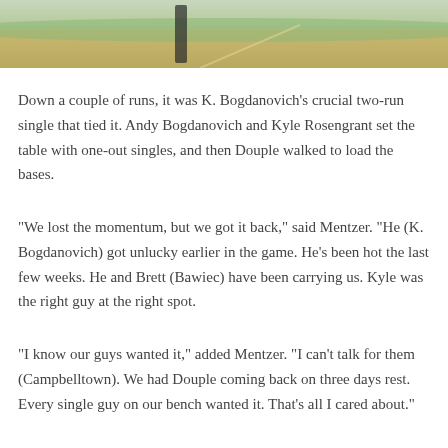[Figure (photo): Cropped outdoor sports/baseball scene showing dirt field and grass in background]
Down a couple of runs, it was K. Bogdanovich's crucial two-run single that tied it. Andy Bogdanovich and Kyle Rosengrant set the table with one-out singles, and then Douple walked to load the bases.
“We lost the momentum, but we got it back,” said Mentzer. “He (K. Bogdanovich) got unlucky earlier in the game. He’s been hot the last few weeks. He and Brett (Bawiec) have been carrying us. Kyle was the right guy at the right spot.
“I know our guys wanted it,” added Mentzer. “I can’t talk for them (Campbelltown). We had Douple coming back on three days rest. Every single guy on our bench wanted it. That’s all I cared about.”